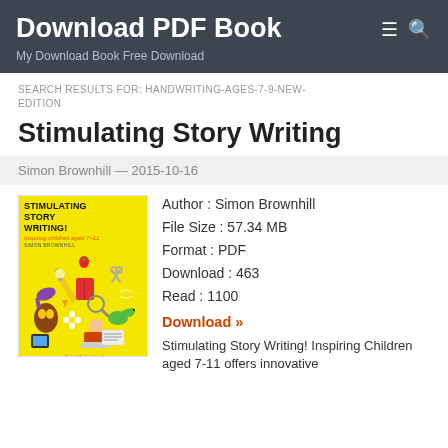Download PDF Book
My Download Book Free Download
SEARCH RESULTS FOR: HANDWRITING-AGES-7-9-NEW-EDITION
Stimulating Story Writing
Simon Brownhill — 2015-10-16
[Figure (illustration): Book cover for Stimulating Story Writing! with yellow background and colorful illustrations of children and objects]
Author : Simon Brownhill
File Size : 57.34 MB
Format : PDF
Download : 463
Read : 1100
Download »
Stimulating Story Writing! Inspiring Children aged 7-11 offers innovative